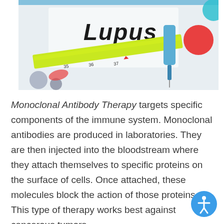[Figure (photo): Close-up photo of medical items including a syringe, thermometer, and pills, with the word 'Lupus' written in bold handwriting on a white card in the background. Blue and red/orange round pills visible.]
Monoclonal Antibody Therapy targets specific components of the immune system. Monoclonal antibodies are produced in laboratories. They are then injected into the bloodstream where they attach themselves to specific proteins on the surface of cells. Once attached, these molecules block the action of those proteins. This type of therapy works best against cancerous tumors.